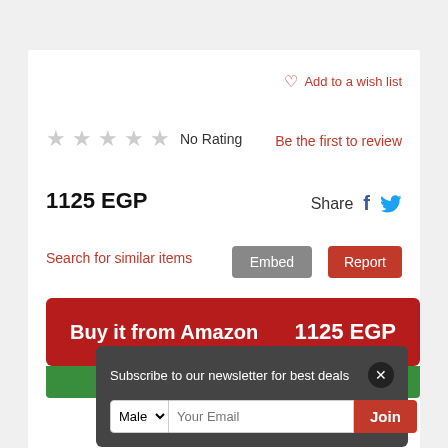Add to a wish list
★★★★★ No Rating
Be the first to review
1125 EGP
Share
Search for similar items
Embed
Report
Buy it from Amazon  1125 EGP
Subscribe to our newsletter for best deals
Male  Your Email  Join